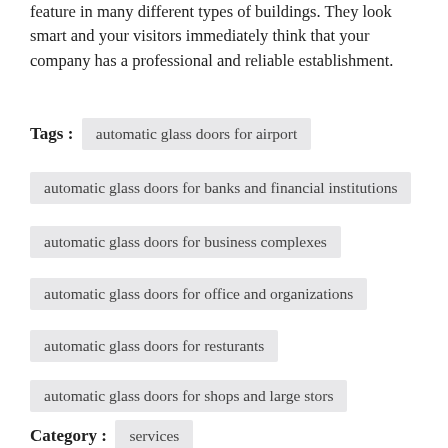feature in many different types of buildings. They look smart and your visitors immediately think that your company has a professional and reliable establishment.
Tags : automatic glass doors for airport
automatic glass doors for banks and financial institutions
automatic glass doors for business complexes
automatic glass doors for office and organizations
automatic glass doors for resturants
automatic glass doors for shops and large stors
Category : services